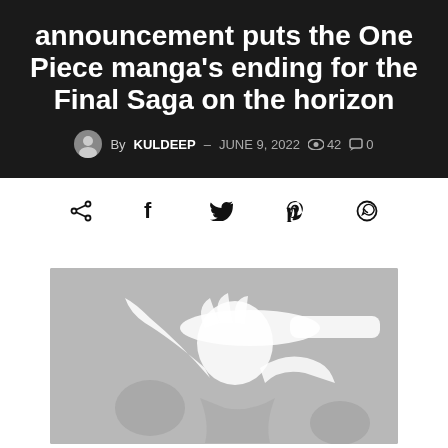announcement puts the One Piece manga's ending for the Final Saga on the horizon
By KULDEEP – JUNE 9, 2022  👁 42  💬 0
[Figure (other): Social share icons: share, facebook, twitter, pinterest, whatsapp]
[Figure (illustration): Grayscale silhouette illustration of a character (Luffy from One Piece) wearing a straw hat]